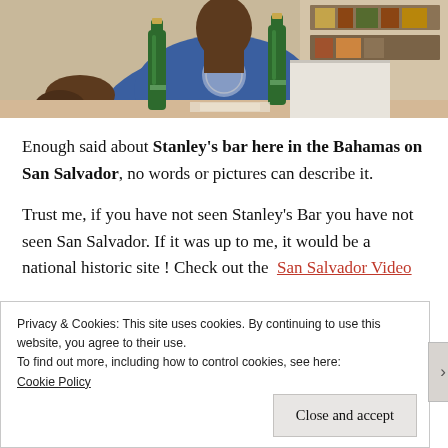[Figure (photo): Photo of a person sitting at a bar in the Bahamas, wearing a blue t-shirt, holding green beer bottles on a table]
Enough said about Stanley's bar here in the Bahamas on San Salvador, no words or pictures can describe it.

Trust me, if you have not seen Stanley's Bar you have not seen San Salvador. If it was up to me, it would be a national historic site ! Check out the San Salvador Video
Privacy & Cookies: This site uses cookies. By continuing to use this website, you agree to their use.
To find out more, including how to control cookies, see here:
Cookie Policy

Close and accept